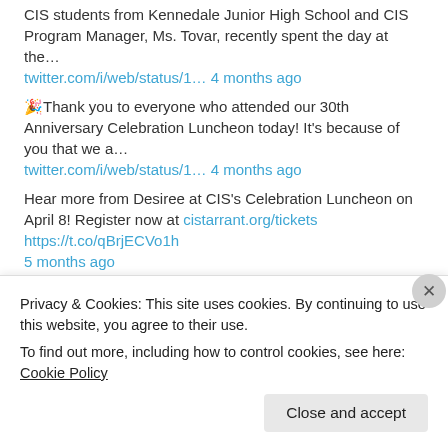CIS students from Kennedale Junior High School and CIS Program Manager, Ms. Tovar, recently spent the day at the…
twitter.com/i/web/status/1… 4 months ago
🎉Thank you to everyone who attended our 30th Anniversary Celebration Luncheon today! It's because of you that we a…
twitter.com/i/web/status/1… 4 months ago
Hear more from Desiree at CIS's Celebration Luncheon on April 8! Register now at cistarrant.org/tickets https://t.co/qBrjECVo1h
5 months ago
Hear more from Kimeeka at CIS's Celebration Luncheon on April 8! Register now at cistarrant.org/tickets https://t.co/j1mrzG3aXZ
5 months ago
Advertisements
Privacy & Cookies: This site uses cookies. By continuing to use this website, you agree to their use. To find out more, including how to control cookies, see here: Cookie Policy
Close and accept